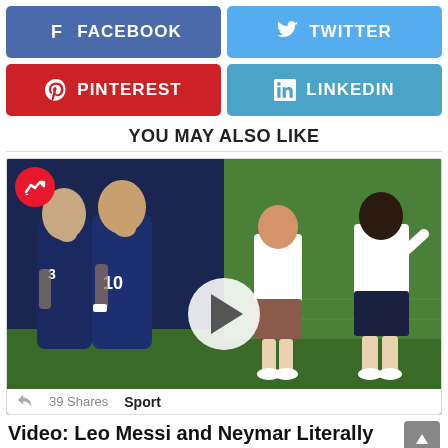[Figure (other): Facebook share button - blue with Facebook f icon]
[Figure (other): Twitter share button - light blue with Twitter bird icon]
[Figure (other): Pinterest share button - red with Pinterest p icon]
[Figure (other): LinkedIn share button - light blue with LinkedIn in icon]
YOU MAY ALSO LIKE
[Figure (photo): Video thumbnail showing Leo Messi and Neymar at PSG Training - left side shows two players in dark blue PSG kits on a field, right side shows two players in white/casual clothes on a training pitch. A red trending badge appears top-left, a white play button circle is centered over the image. Footer shows 39 Shares and Sport label.]
Video: Leo Messi and Neymar Literally Inseparable at PSG Training Amid Tension at